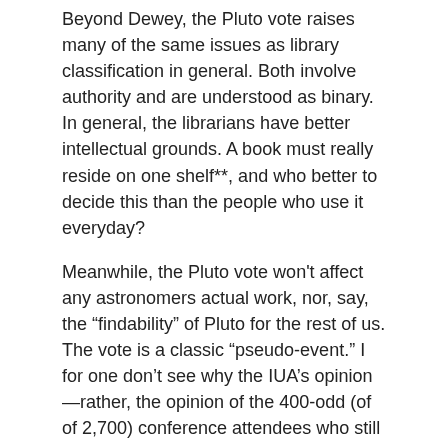Beyond Dewey, the Pluto vote raises many of the same issues as library classification in general. Both involve authority and are understood as binary. In general, the librarians have better intellectual grounds. A book must really reside on one shelf**, and who better to decide this than the people who use it everyday?
Meanwhile, the Pluto vote won't affect any astronomers actual work, nor, say, the “findability” of Pluto for the rest of us. The vote is a classic “pseudo-event.” I for one don’t see why the IUA’s opinion—rather, the opinion of the 400-odd (of of 2,700) conference attendees who still remained on the last day—on the matter should be definitive.*** What do the astrologers, historians of science, linguists and poets have to say?
Or, for that matter, how about LibraryThing members? Funny you should ask!
Related tags: planets
| Related tags | (show numb |
| --- | --- |